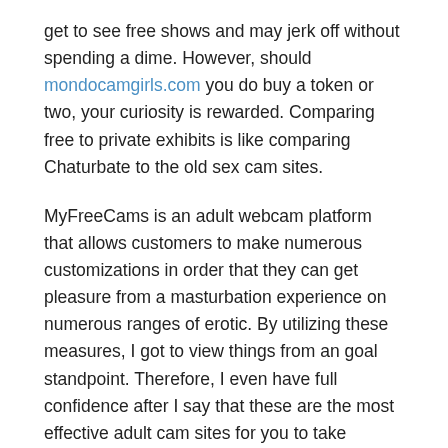get to see free shows and may jerk off without spending a dime. However, should mondocamgirls.com you do buy a token or two, your curiosity is rewarded. Comparing free to private exhibits is like comparing Chaturbate to the old sex cam sites.
MyFreeCams is an adult webcam platform that allows customers to make numerous customizations in order that they can get pleasure from a masturbation experience on numerous ranges of erotic. By utilizing these measures, I got to view things from an goal standpoint. Therefore, I even have full confidence after I say that these are the most effective adult cam sites for you to take pleasure in yourself with. I provide you with helpful data, and you use it to have all the naughty fun you can handle.
Search